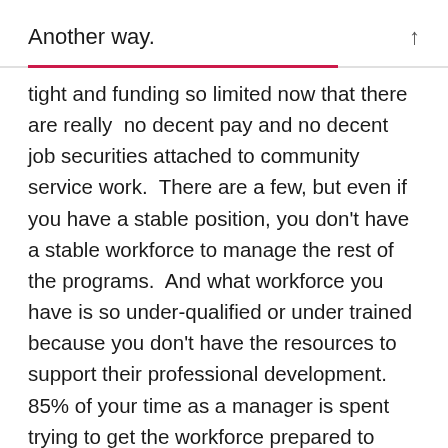Another way. ↑
tight and funding so limited now that there are really no decent pay and no decent job securities attached to community service work. There are a few, but even if you have a stable position, you don't have a stable workforce to manage the rest of the programs. And what workforce you have is so under-qualified or under trained because you don't have the resources to support their professional development. 85% of your time as a manager is spent trying to get the workforce prepared to work with nothing in terms of resources. Then you ask them to work with the most vulnerable whilst only being able to offer a